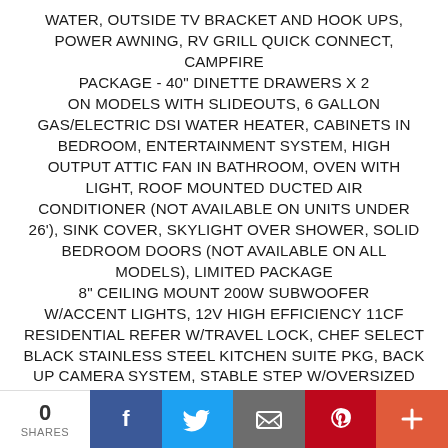WATER, OUTSIDE TV BRACKET AND HOOK UPS, POWER AWNING, RV GRILL QUICK CONNECT, CAMPFIRE PACKAGE - 40" DINETTE DRAWERS X 2 ON MODELS WITH SLIDEOUTS, 6 GALLON GAS/ELECTRIC DSI WATER HEATER, CABINETS IN BEDROOM, ENTERTAINMENT SYSTEM, HIGH OUTPUT ATTIC FAN IN BATHROOM, OVEN WITH LIGHT, ROOF MOUNTED DUCTED AIR CONDITIONER (NOT AVAILABLE ON UNITS UNDER 26'), SINK COVER, SKYLIGHT OVER SHOWER, SOLID BEDROOM DOORS (NOT AVAILABLE ON ALL MODELS), LIMITED PACKAGE 8" CEILING MOUNT 200W SUBWOOFER W/ACCENT LIGHTS, 12V HIGH EFFICIENCY 11CF RESIDENTIAL REFER W/TRAVEL LOCK, CHEF SELECT BLACK STAINLESS STEEL KITCHEN SUITE PKG, BACK UP CAMERA SYSTEM, STABLE STEP W/OVERSIZED LANDING, CHEROKEE SANITIZER, TOTAL CONTROL APP & REMOTE CONTROL SYSTEM, EXT. LED STRIP LIGHTS, EXT. SCARE LIGHT, FIREPLACE (N/A SOME MODELS), HYBRID TUB W/SHOWER SURROUND
0 SHARES | Facebook | Twitter | Email | Pinterest | Plus